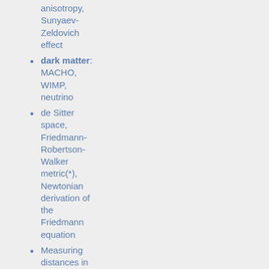anisotropy, Sunyaev-Zeldovich effect
dark matter: MACHO, WIMP, neutrino
de Sitter space, Friedmann-Robertson-Walker metric(*), Newtonian derivation of the Friedmann equation
Measuring distances in astronomy, standard candle
gravitational lensing, multiply-imaged quasar
redshift/z
Lyman alpha forest